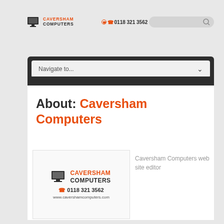[Figure (logo): Caversham Computers logo with monitor icon, text CAVERSHAM COMPUTERS in orange and dark]
📞 0118 321 3562
[Figure (other): Search box with magnifying glass icon]
Navigate to...
About: Caversham Computers
[Figure (logo): Caversham Computers logo card with monitor icon, orange CAVERSHAM COMPUTERS text, phone 0118 321 3562, and www.cavershamcomputers.com]
Caversham Computers web site editor